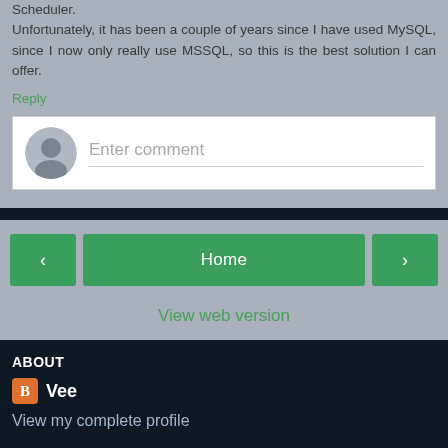Scheduler.
Unfortunately, it has been a couple of years since I have used MySQL, since I now only really use MSSQL, so this is the best solution I can offer.
Reply
[Figure (screenshot): Comment input box with default avatar icon and 'Enter comment' placeholder text]
[Figure (screenshot): Navigation buttons: left arrow, Home, right arrow, and View web version link]
ABOUT
Vee
View my complete profile
Powered by Blogger.